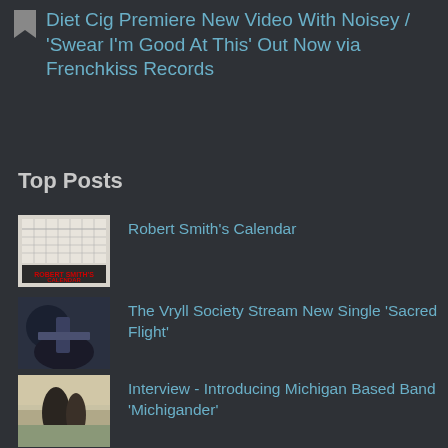Diet Cig Premiere New Video With Noisey / 'Swear I'm Good At This' Out Now via Frenchkiss Records
Top Posts
Robert Smith's Calendar
The Vryll Society Stream New Single 'Sacred Flight'
Interview - Introducing Michigan Based Band 'Michigander'
Aero Flynn Debuts New Music Video With 'Fader' + Torres Tour Dates
SWIG Music Club Night Every Thursday At Victory Mansion With Kieran Leonard and More